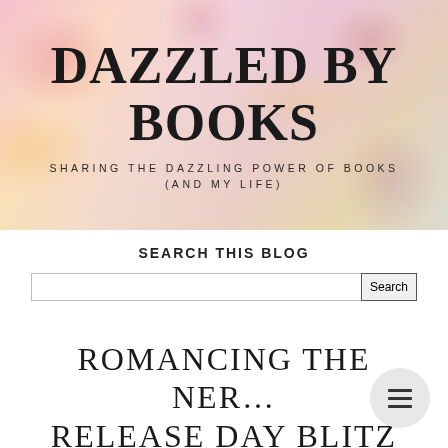[Figure (illustration): Blog header banner with floral watercolor background (pink, yellow, purple flowers) and blog name overlaid]
DAZZLED BY BOOKS
SHARING THE DAZZLING POWER OF BOOKS (AND MY LIFE)
SEARCH THIS BLOG
[Figure (screenshot): Search input bar with Search button]
ROMANCING THE NER... RELEASE DAY BLITZ
Apr 5, 2016